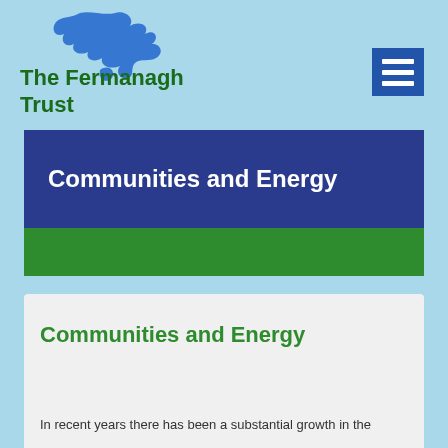[Figure (logo): The Fermanagh Trust logo with blue map/dolphin shape above the text]
[Figure (other): Hamburger menu icon (three horizontal white lines on blue square background)]
Communities and Energy
Communities and Energy
In recent years there has been a substantial growth in the